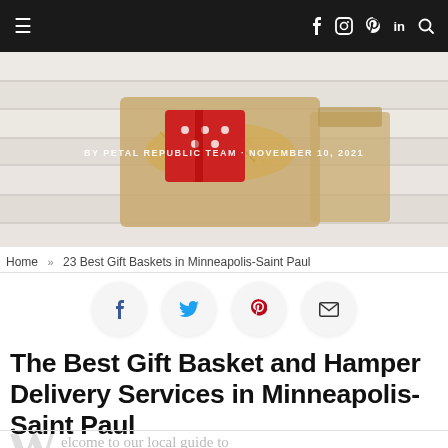≡  f  ○  ℗  in  🔍
[Figure (photo): Hero image showing a gift basket/hamper with red decorated item, straw filler, and kraft paper on a white wood background. Author byline overlay: BY PETAL REPUBLIC TEAM · NOVEMBER 10, 2021]
Home » 23 Best Gift Baskets in Minneapolis-Saint Paul
[Figure (infographic): Social share buttons: Facebook (f), Twitter (bird), Pinterest (p), Email (envelope) — each in a light gray circle]
The Best Gift Basket and Hamper Delivery Services in Minneapolis-Saint Paul
Welcome to our local guide to